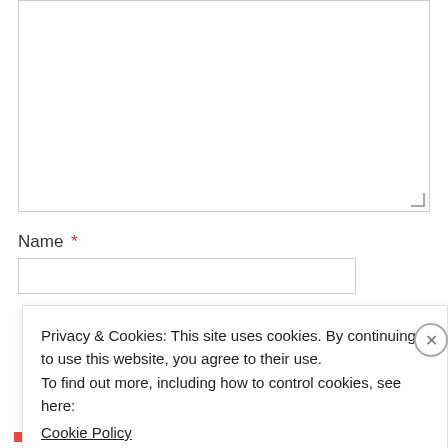[Figure (screenshot): Empty textarea form field with resize handle at bottom-right corner]
Name *
[Figure (screenshot): Empty text input field for Name]
Privacy & Cookies: This site uses cookies. By continuing to use this website, you agree to their use.
To find out more, including how to control cookies, see here:
Cookie Policy
CLOSE AND ACCEPT